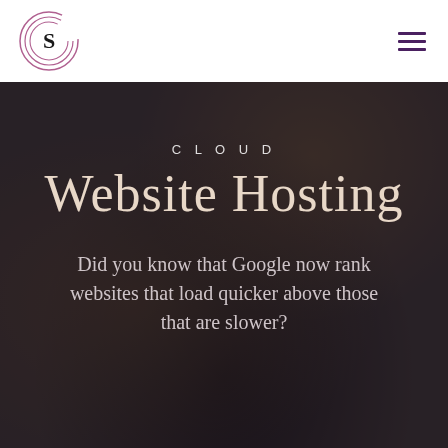[Figure (logo): Circular logo with letter S and concentric arcs, in dark purple/grey tones]
[Figure (other): Hamburger menu icon — three horizontal dark purple lines]
[Figure (photo): Dark hero background photo showing a person at a desk with a computer monitor, dimly lit office environment]
CLOUD
Website Hosting
Did you know that Google now rank websites that load quicker above those that are slower?